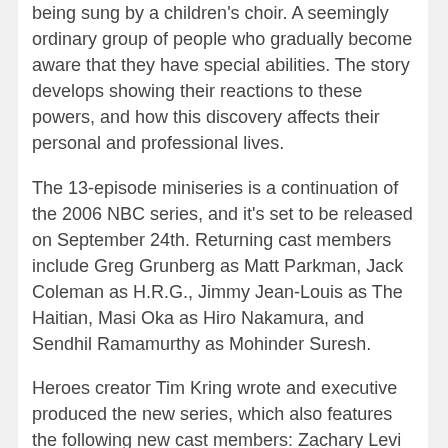being sung by a children's choir. A seemingly ordinary group of people who gradually become aware that they have special abilities. The story develops showing their reactions to these powers, and how this discovery affects their personal and professional lives.
The 13-episode miniseries is a continuation of the 2006 NBC series, and it's set to be released on September 24th. Returning cast members include Greg Grunberg as Matt Parkman, Jack Coleman as H.R.G., Jimmy Jean-Louis as The Haitian, Masi Oka as Hiro Nakamura, and Sendhil Ramamurthy as Mohinder Suresh.
Heroes creator Tim Kring wrote and executive produced the new series, which also features the following new cast members: Zachary Levi (Chuck), Ryan Guzman (The Boy Next Door), Robbie Kay (Once Upon a Time), Danika Yarosh (Shameless), Judith Shekoni (The Twilight Saga: Breaking Dawn – Part 2), Kiki Sukezane (Death Yankee 3), Henry Zebrowski (A to